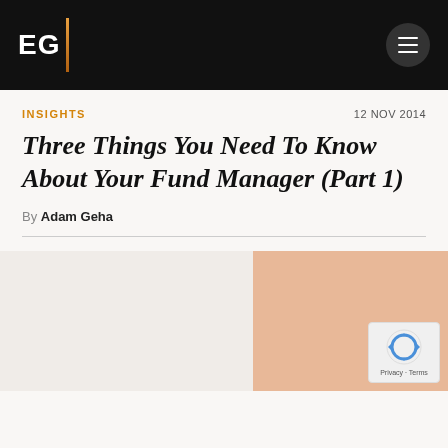EG
INSIGHTS
12 NOV 2014
Three Things You Need To Know About Your Fund Manager (Part 1)
By Adam Geha
[Figure (photo): Article header image with peach/salmon colored block on right side and reCAPTCHA badge overlay]